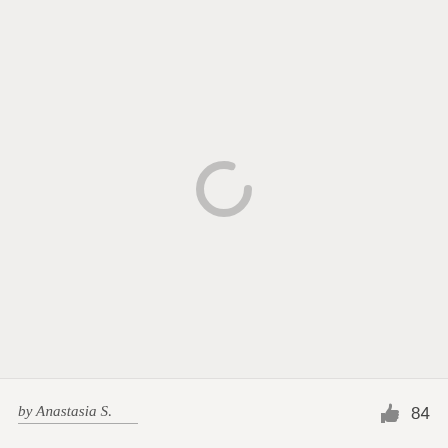[Figure (illustration): A loading spinner icon (grey arc/C-shape) centered on a light grey background, indicating content is loading.]
by Anastasia S.
84